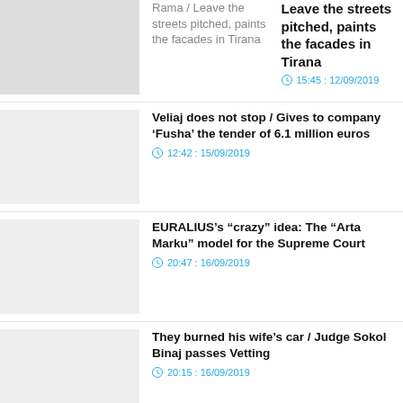Rama / Leave the streets pitched, paints the facades in Tirana
Veliaj does not stop / Gives to company ‘Fusha’ the tender of 6.1 million euros
12:42 : 15/09/2019
EURALIUS’s “crazyˮ idea: The “Arta Markuˮ model for the Supreme Court
20:47 : 16/09/2019
They burned his wife’s car / Judge Sokol Binaj passes Vetting
20:15 : 16/09/2019
1  2  ...  21  >